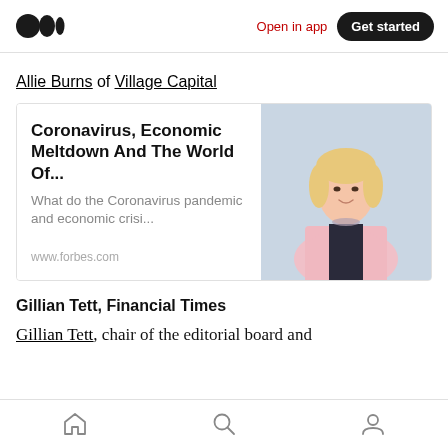Open in app  Get started
Allie Burns of Village Capital
[Figure (screenshot): Article card with headline 'Coronavirus, Economic Meltdown And The World Of...' subtitle 'What do the Coronavirus pandemic and economic crisi...' source 'www.forbes.com' and photo of blonde woman in pink blazer on light blue background]
Gillian Tett, Financial Times
Gillian Tett, chair of the editorial board and